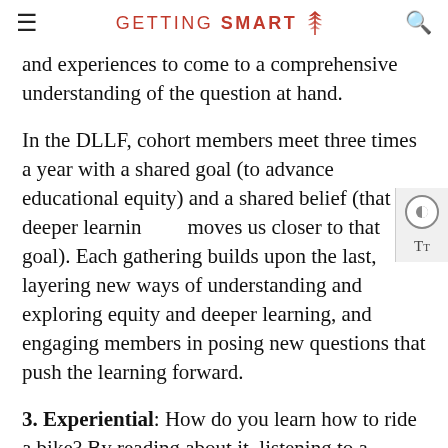GETTING SMART
and experiences to come to a comprehensive understanding of the question at hand.
In the DLLF, cohort members meet three times a year with a shared goal (to advance educational equity) and a shared belief (that deeper learning moves us closer to that goal). Each gathering builds upon the last, layering new ways of understanding and exploring equity and deeper learning, and engaging members in posing new questions that push the learning forward.
3. Experiential: How do you learn how to ride a bike? By reading about it, listening to a podcast, or watching a Ted Talk on how to do it?